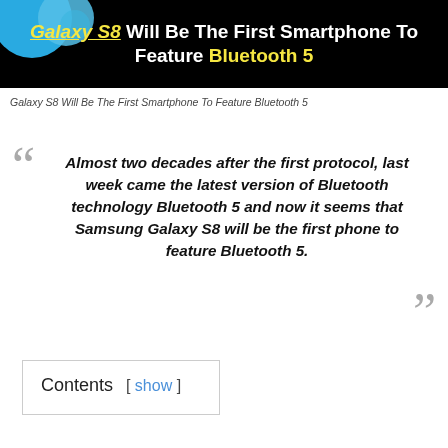[Figure (photo): Dark banner image with blue circular Bluetooth logo elements on the left, black background, and bold text overlay reading 'Galaxy S8 Will Be The First Smartphone To Feature Bluetooth 5']
Galaxy S8 Will Be The First Smartphone To Feature Bluetooth 5
Almost two decades after the first protocol, last week came the latest version of Bluetooth technology Bluetooth 5 and now it seems that Samsung Galaxy S8 will be the first phone to feature Bluetooth 5.
Contents [ show ]